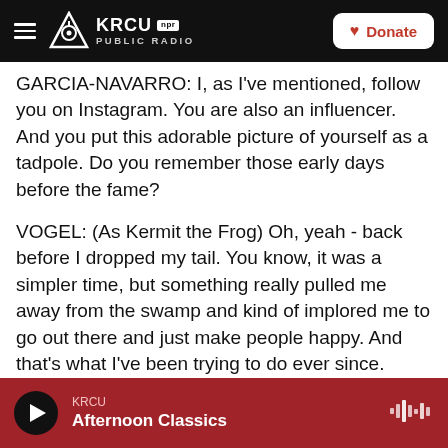KRCU NPR PUBLIC RADIO | Donate
GARCIA-NAVARRO: I, as I've mentioned, follow you on Instagram. You are also an influencer. And you put this adorable picture of yourself as a tadpole. Do you remember those early days before the fame?
VOGEL: (As Kermit the Frog) Oh, yeah - back before I dropped my tail. You know, it was a simpler time, but something really pulled me away from the swamp and kind of implored me to go out there and just make people happy. And that's what I've been trying to do ever since.
GARCIA-NAVARRO: Can I ask you a special favor?
KRCU | Afternoon Classics